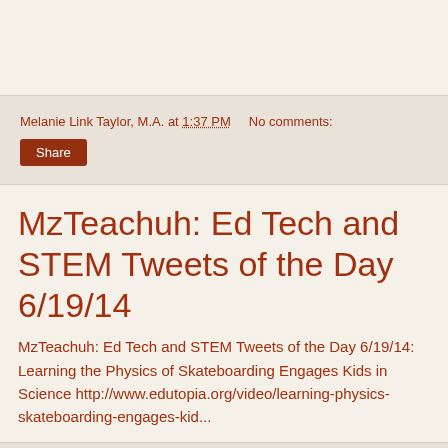Melanie Link Taylor, M.A. at 1:37 PM   No comments:
Share
MzTeachuh: Ed Tech and STEM Tweets of the Day 6/19/14
MzTeachuh: Ed Tech and STEM Tweets of the Day 6/19/14: Learning the Physics of Skateboarding Engages Kids in Science http://www.edutopia.org/video/learning-physics-skateboarding-engages-kid...
Melanie Link Taylor, M.A. at 1:32 PM   No comments:
Share